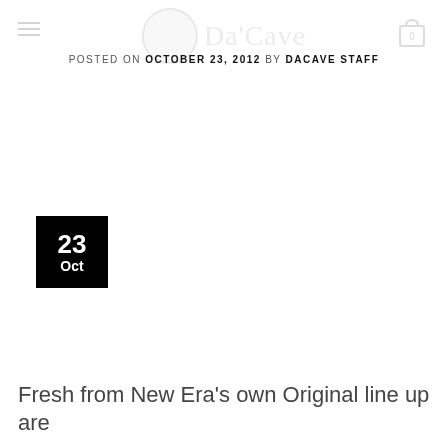Da Cave
POSTED ON OCTOBER 23, 2012 BY DACAVE STAFF
[Figure (other): Black square date badge showing '23 Oct']
Fresh from New Era's own Original line up are